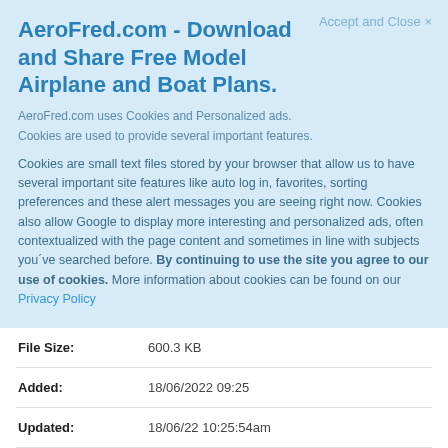AeroFred.com - Download and Share Free Model Airplane and Boat Plans.
Accept and Close ×
AeroFred.com uses Cookies and Personalized ads.
Cookies are used to provide several important features.
Cookies are small text files stored by your browser that allow us to have several important site features like auto log in, favorites, sorting preferences and these alert messages you are seeing right now. Cookies also allow Google to display more interesting and personalized ads, often contextualized with the page content and sometimes in line with subjects you´ve searched before. By continuing to use the site you agree to our use of cookies. More information about cookies can be found on our Privacy Policy
| File Size: | 600.3 KB |
| Added: | 18/06/2022 09:25 |
| Updated: | 18/06/22 10:25:54am |
⊕ Plan Page   ♥ Add to Favorites   🖨 Quote Prints